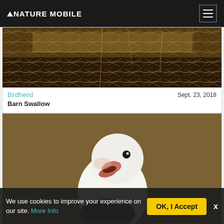NATURE MOBILE
[Figure (photo): Close-up of barn swallow nest with straw/dried grass material in dark tones]
Birdfriend   Sept. 23, 2018
Barn Swallow
[Figure (photo): White parrot/lovebird looking upward with beak open, against brown background]
We use cookies to improve your experience on our site. More Info   OK, I Accept   x